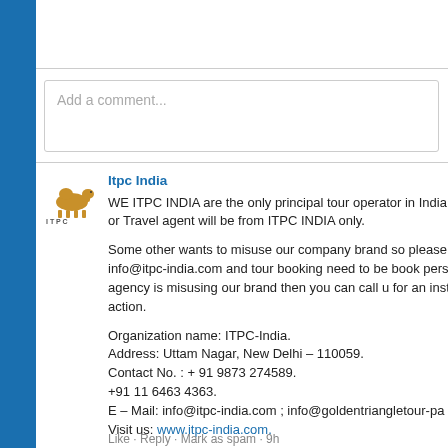Add a comment...
[Figure (logo): ITPC India logo with camel illustration]
Itpc India
WE ITPC INDIA are the only principal tour operator in India clients or Travel agent will be from ITPC INDIA only.

Some other wants to misuse our company brand so please from info@itpc-india.com and tour booking need to be booked person or agency is misusing our brand then you can call us for an instant action.

Organization name: ITPC-India.
Address: Uttam Nagar, New Delhi – 110059.
Contact No. : + 91 9873 274589.
+91 11 6463 4363.
E – Mail: info@itpc-india.com ; info@goldentriangletour-pa
Visit us: www.itpc-india.com.
Like · Reply · Mark as spam · 9h